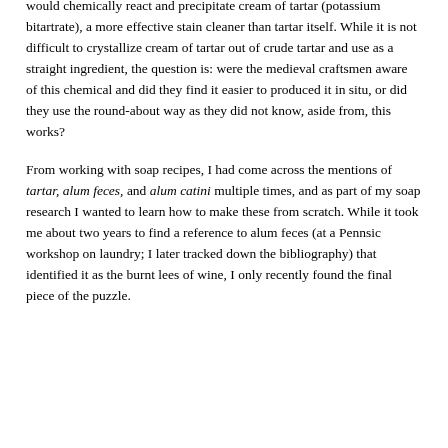would chemically react and precipitate cream of tartar (potassium bitartrate), a more effective stain cleaner than tartar itself. While it is not difficult to crystallize cream of tartar out of crude tartar and use as a straight ingredient, the question is: were the medieval craftsmen aware of this chemical and did they find it easier to produced it in situ, or did they use the round-about way as they did not know, aside from, this works?
From working with soap recipes, I had come across the mentions of tartar, alum feces, and alum catini multiple times, and as part of my soap research I wanted to learn how to make these from scratch. While it took me about two years to find a reference to alum feces (at a Pennsic workshop on laundry; I later tracked down the bibliography) that identified it as the burnt lees of wine, I only recently found the final piece of the puzzle.